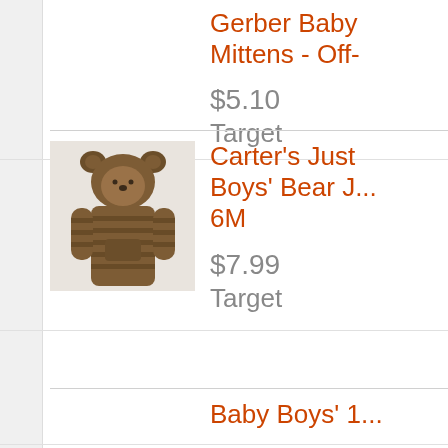Gerber Baby Mittens - Off-
$5.10
Target
[Figure (photo): Carter's Just One You Boys' Bear Jumpsuit 6M - brown striped hooded one-piece jumpsuit with bear ears on hood]
Carter's Just One You Boys' Bear J... 6M
$7.99
Target
Baby Boys' 1...